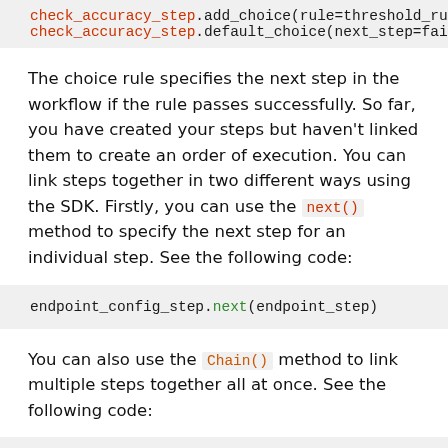[Figure (screenshot): Code block showing check_accuracy_step.add_choice and check_accuracy_step.default_choice lines, partially cut off on the right]
The choice rule specifies the next step in the workflow if the rule passes successfully. So far, you have created your steps but haven't linked them to create an order of execution. You can link steps together in two different ways using the SDK. Firstly, you can use the next() method to specify the next step for an individual step. See the following code:
[Figure (screenshot): Code block: endpoint_config_step.next(endpoint_step)]
You can also use the Chain() method to link multiple steps together all at once. See the following code:
[Figure (screenshot): Code block beginning: workflow_definition = steps.Chain([]